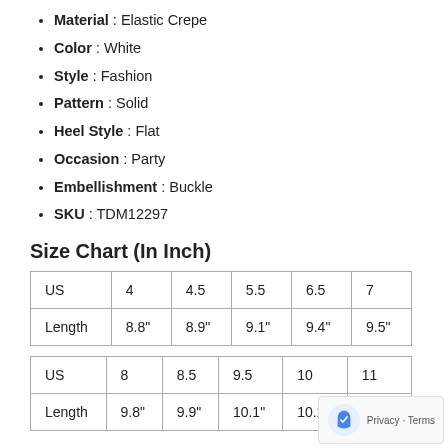Material : Elastic Crepe
Color : White
Style : Fashion
Pattern : Solid
Heel Style : Flat
Occasion : Party
Embellishment : Buckle
SKU : TDM12297
Size Chart (In Inch)
| US | 4 | 4.5 | 5.5 | 6.5 | 7 |
| --- | --- | --- | --- | --- | --- |
| Length | 8.8" | 8.9" | 9.1" | 9.4" | 9.5" |
| US | 8 | 8.5 | 9.5 | 10 | 11 |
| --- | --- | --- | --- | --- | --- |
| Length | 9.8" | 9.9" | 10.1" | 10.2" | 10.3" |